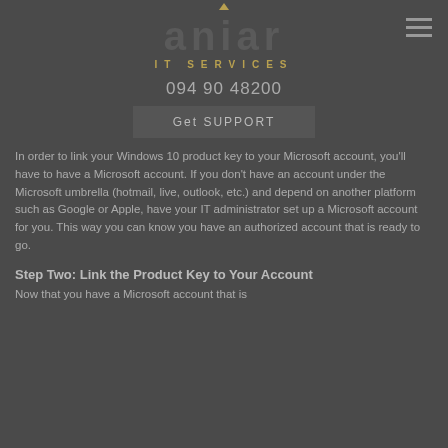[Figure (logo): Aniar IT Services logo with stylized text and golden subtitle]
094 90 48200
Get SUPPORT
In order to link your Windows 10 product key to your Microsoft account, you'll have to have a Microsoft account. If you don't have an account under the Microsoft umbrella (hotmail, live, outlook, etc.) and depend on another platform such as Google or Apple, have your IT administrator set up a Microsoft account for you. This way you can know you have an authorized account that is ready to go.
Step Two: Link the Product Key to Your Account
Now that you have a Microsoft account that is